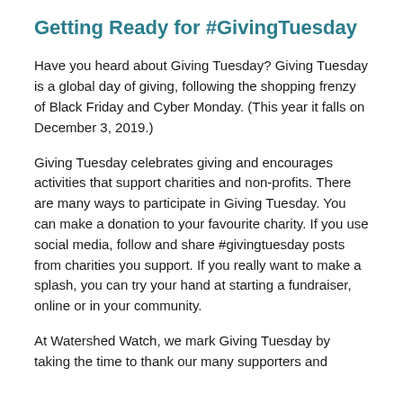Getting Ready for #GivingTuesday
Have you heard about Giving Tuesday? Giving Tuesday is a global day of giving, following the shopping frenzy of Black Friday and Cyber Monday. (This year it falls on December 3, 2019.)
Giving Tuesday celebrates giving and encourages activities that support charities and non-profits. There are many ways to participate in Giving Tuesday. You can make a donation to your favourite charity. If you use social media, follow and share #givingtuesday posts from charities you support. If you really want to make a splash, you can try your hand at starting a fundraiser, online or in your community.
At Watershed Watch, we mark Giving Tuesday by taking the time to thank our many supporters and